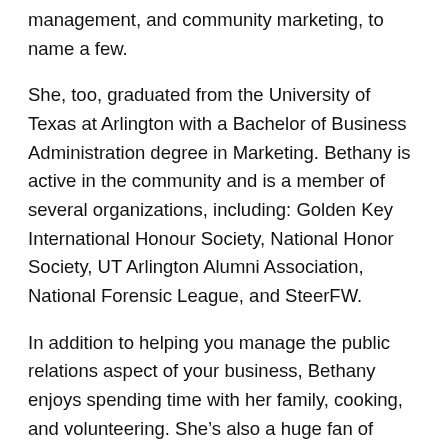management, and community marketing, to name a few.
She, too, graduated from the University of Texas at Arlington with a Bachelor of Business Administration degree in Marketing. Bethany is active in the community and is a member of several organizations, including: Golden Key International Honour Society, National Honor Society, UT Arlington Alumni Association, National Forensic League, and SteerFW.
In addition to helping you manage the public relations aspect of your business, Bethany enjoys spending time with her family, cooking, and volunteering. She’s also a huge fan of anything that has to do with Santa.